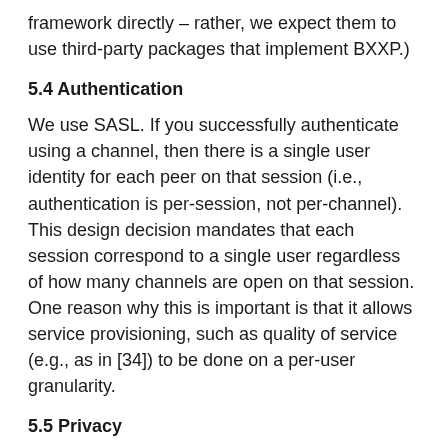framework directly – rather, we expect them to use third-party packages that implement BXXP.)
5.4 Authentication
We use SASL. If you successfully authenticate using a channel, then there is a single user identity for each peer on that session (i.e., authentication is per-session, not per-channel). This design decision mandates that each session correspond to a single user regardless of how many channels are open on that session. One reason why this is important is that it allows service provisioning, such as quality of service (e.g., as in [34]) to be done on a per-user granularity.
5.5 Privacy
We use SASL and TLS. If you successfully complete a transport security negotiation using a channel, then all traffic on that session is secured (i.e., confidentiality is per-session, not per-channel, just like authentication).